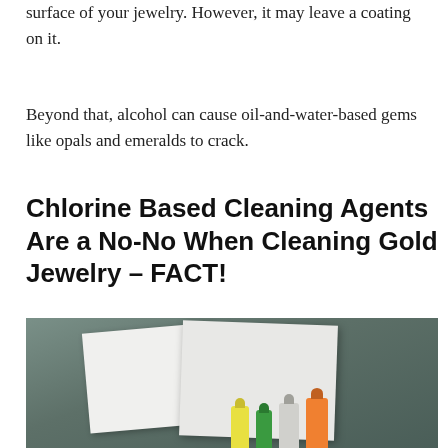surface of your jewelry. However, it may leave a coating on it.
Beyond that, alcohol can cause oil-and-water-based gems like opals and emeralds to crack.
Chlorine Based Cleaning Agents Are a No-No When Cleaning Gold Jewelry – FACT!
[Figure (photo): Photo of cleaning product spray bottles and papers/surfaces on a green-grey background]